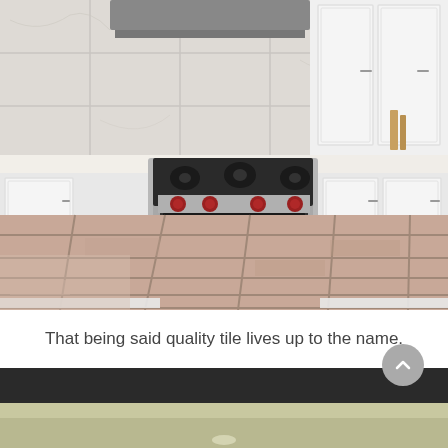[Figure (photo): Kitchen interior with a stainless steel Wolf range/oven with red knobs, white shaker-style cabinetry, marble tile backsplash, white quartz countertops, and terracotta-style large-format floor tiles.]
That being said quality tile lives up to the name.
[Figure (photo): Partial view of a second photo, appears to show a dark countertop or appliance with a light-colored surface below, cropped at bottom of page.]